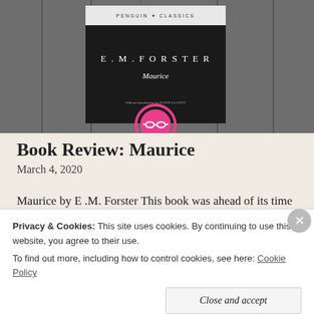[Figure (photo): Black and white photograph of a Penguin Classics edition of 'Maurice' by E.M. Forster leaning against a wooden fence/wall. A pink/magenta circular logo (with glasses icon) is visible at the bottom of the image.]
Book Review: Maurice
March 4, 2020
Maurice by E .M. Forster This book was ahead of its time
Privacy & Cookies: This site uses cookies. By continuing to use this website, you agree to their use.
To find out more, including how to control cookies, see here: Cookie Policy
Close and accept